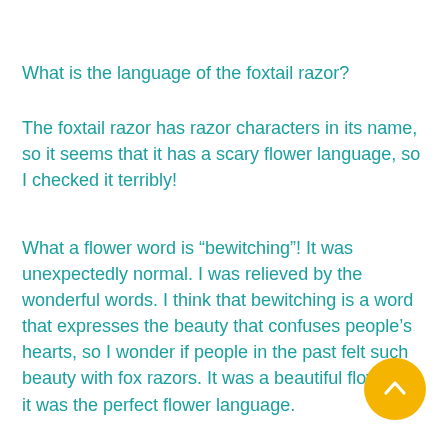What is the language of the foxtail razor?
The foxtail razor has razor characters in its name, so it seems that it has a scary flower language, so I checked it terribly!
What a flower word is “bewitching”! It was unexpectedly normal. I was relieved by the wonderful words. I think that bewitching is a word that expresses the beauty that confuses people’s hearts, so I wonder if people in the past felt such beauty with fox razors. It was a beautiful flower, so it was the perfect flower language.
[Figure (other): Yellow circular button with upward-pointing chevron arrow icon]